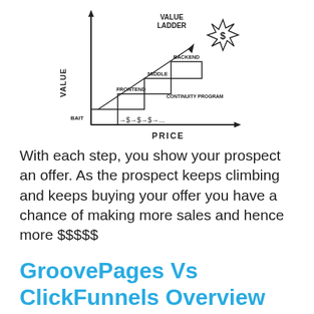[Figure (schematic): Hand-drawn 'Value Ladder' diagram showing stair-step levels labeled BAIT, FRONTEND, MIDDLE, BACKEND from bottom-left to top-right, with arrows showing increasing price (→$ →$ →$ →...) along the x-axis labeled PRICE, and y-axis labeled VALUE. A starburst dollar sign icon sits at the top-right. The title 'VALUE LADDER' appears at the top with a diagonal arrow.]
With each step, you show your prospect an offer. As the prospect keeps climbing and keeps buying your offer you have a chance of making more sales and hence more $$$$$
GroovePages Vs ClickFunnels Overview